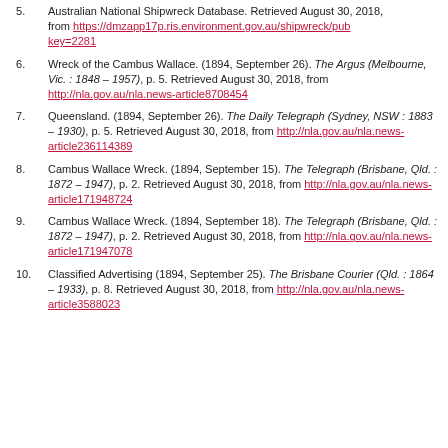Australian National Shipwreck Database. Retrieved August 30, 2018, from https://dmzapp17p.ris.environment.gov.au/shipwreck/pub key=2281
Wreck of the Cambus Wallace. (1894, September 26). The Argus (Melbourne, Vic. : 1848 – 1957), p. 5. Retrieved August 30, 2018, from http://nla.gov.au/nla.news-article8708454
Queensland. (1894, September 26). The Daily Telegraph (Sydney, NSW : 1883 – 1930), p. 5. Retrieved August 30, 2018, from http://nla.gov.au/nla.news-article236114389
Cambus Wallace Wreck. (1894, September 15). The Telegraph (Brisbane, Qld. : 1872 – 1947), p. 2. Retrieved August 30, 2018, from http://nla.gov.au/nla.news-article171948724
Cambus Wallace Wreck. (1894, September 18). The Telegraph (Brisbane, Qld. : 1872 – 1947), p. 2. Retrieved August 30, 2018, from http://nla.gov.au/nla.news-article171947078
Classified Advertising (1894, September 25). The Brisbane Courier (Qld. : 1864 – 1933), p. 8. Retrieved August 30, 2018, from http://nla.gov.au/nla.news-article3588023